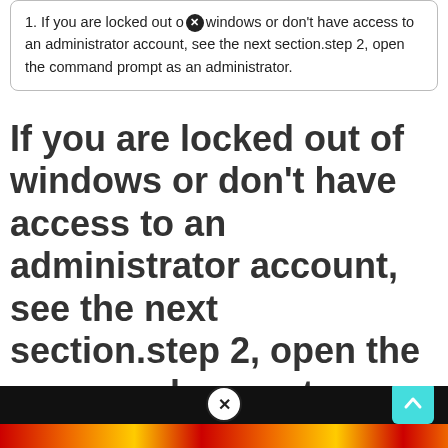1. If you are locked out of windows or don't have access to an administrator account, see the next section.step 2, open the command prompt as an administrator.
If you are locked out of windows or don't have access to an administrator account, see the next section.step 2, open the command prompt as an administrator.
[Figure (screenshot): Bottom portion of a webpage showing a black bar with a colored/patterned bar below it, a close (X) button overlay, and a teal scroll-to-top arrow button in the bottom right corner.]